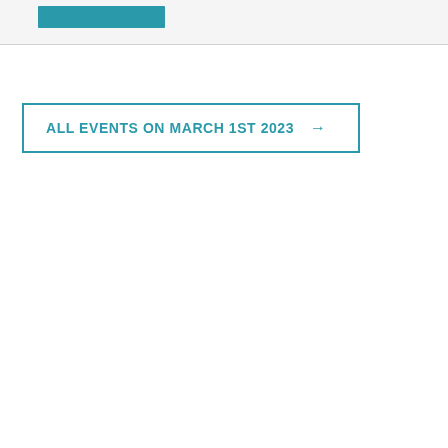[Figure (other): Teal rectangular button/label at the top of the page on a light grey banner background]
ALL EVENTS ON MARCH 1ST 2023 →